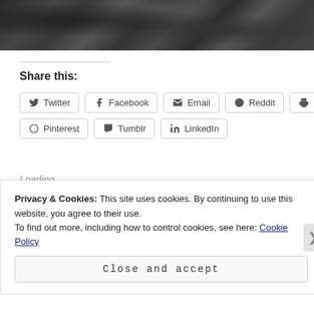[Figure (photo): Black and white photograph of plants/foliage at the top of the page]
Share this:
Twitter
Facebook
Email
Reddit
Print
Pinterest
Tumblr
LinkedIn
Loading...
Privacy & Cookies: This site uses cookies. By continuing to use this website, you agree to their use.
To find out more, including how to control cookies, see here: Cookie Policy
Close and accept